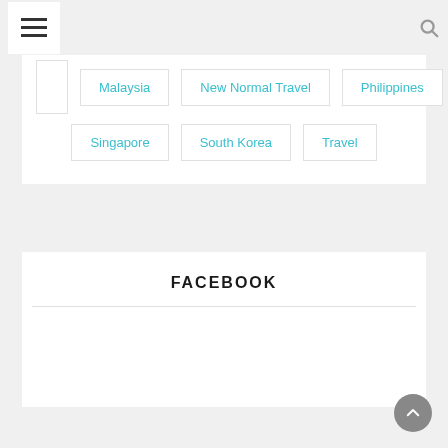Navigation header with hamburger menu and search icon
Malaysia
New Normal Travel
Philippines
Singapore
South Korea
Travel
FACEBOOK
[Figure (other): Facebook widget embed area (blank)]